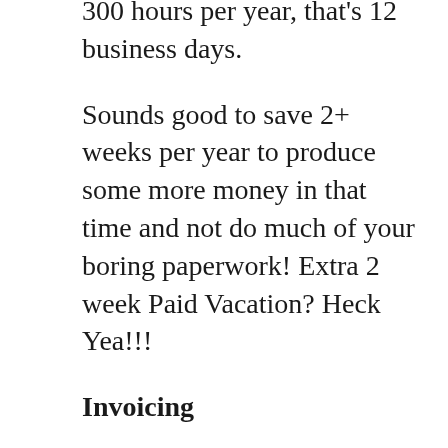300 hours per year, that's 12 business days.
Sounds good to save 2+ weeks per year to produce some more money in that time and not do much of your boring paperwork! Extra 2 week Paid Vacation? Heck Yea!!!
Invoicing
In your car carrier business, timing will realize a lot of value. When you send that invoice as soon the load is delivered, you will have a greater chance of having all the necessary information about getting paid, as you have all the information you need right there and will not have to go back and look for that invoice in your paper files, or under the seat, glove box